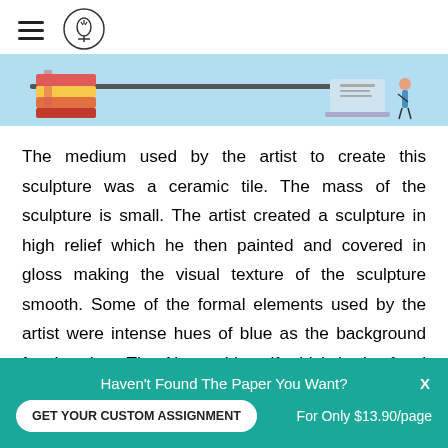[Figure (illustration): Banner image with light blue background showing stacked colorful books on the left and a person with a laptop/documents on the right, with a dark horizontal line in the middle.]
The medium used by the artist to create this sculpture was a ceramic tile. The mass of the sculpture is small. The artist created a sculpture in high relief which he then painted and covered in gloss making the visual texture of the sculpture smooth. Some of the formal elements used by the artist were intense hues of blue as the background for the sky . The Airman himself which is the focal point of the sculpture is painted in light shades of beige and
Haven't Found The Paper You Want?
GET YOUR CUSTOM ASSIGNMENT
For Only $13.90/page
X